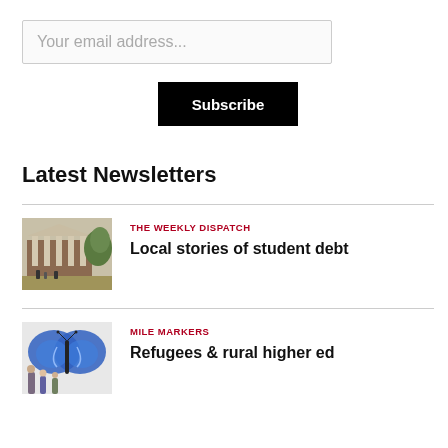Your email address...
Subscribe
Latest Newsletters
[Figure (photo): Exterior of a brick university building with trees and students]
THE WEEKLY DISPATCH
Local stories of student debt
[Figure (photo): People painting a large blue butterfly mural on a wall]
MILE MARKERS
Refugees & rural higher ed